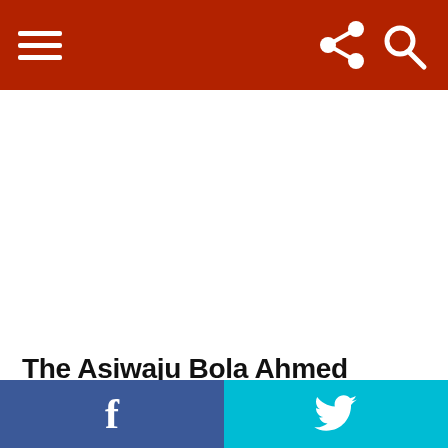Menu | Share | Search
The Asiwaju Bola Ahmed Tinubu Graduate School of Leadership, graduate 52 persons from the leadership school
Facebook | Twitter